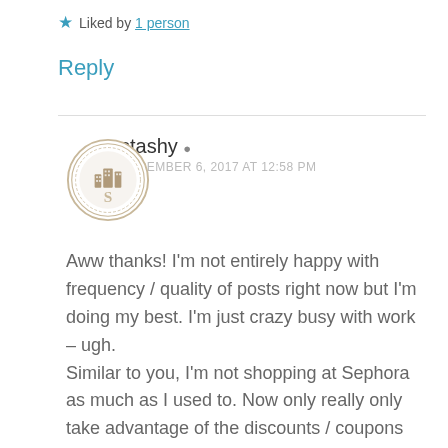★ Liked by 1 person
Reply
stashy ▪ DECEMBER 6, 2017 AT 12:58 PM
Aww thanks! I'm not entirely happy with frequency / quality of posts right now but I'm doing my best. I'm just crazy busy with work – ugh.
Similar to you, I'm not shopping at Sephora as much as I used to. Now only really only take advantage of the discounts / coupons and that's it.
Yes, it's a habit of mine – always check country of